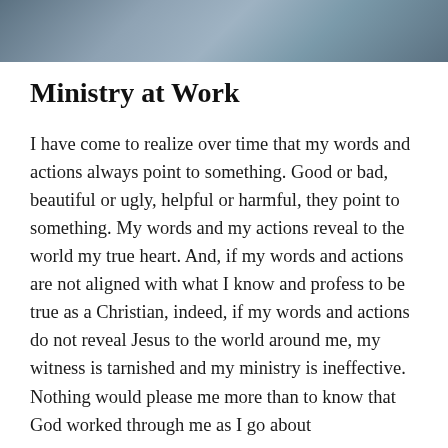[Figure (photo): Partial photograph cropped at top of page, showing what appears to be fabric or clothing in blue/grey tones]
Ministry at Work
I have come to realize over time that my words and actions always point to something. Good or bad, beautiful or ugly, helpful or harmful, they point to something. My words and my actions reveal to the world my true heart. And, if my words and actions are not aligned with what I know and profess to be true as a Christian, indeed, if my words and actions do not reveal Jesus to the world around me, my witness is tarnished and my ministry is ineffective. Nothing would please me more than to know that God worked through me as I go about